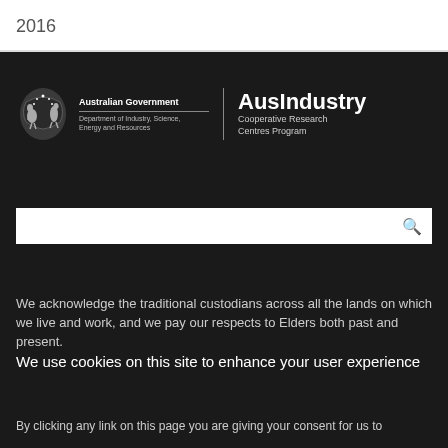2016
[Figure (logo): Australian Government Department of Industry, Science, Energy and Resources coat of arms logo alongside AusIndustry Cooperative Research Centres Program branding on dark background]
[Figure (screenshot): Search bar with search icon on dark background]
We acknowledge the traditional custodians across all the lands on which we live and work, and we pay our respects to Elders both past and present.
We use cookies on this site to enhance your user experience
By clicking any link on this page you are giving your consent for us to